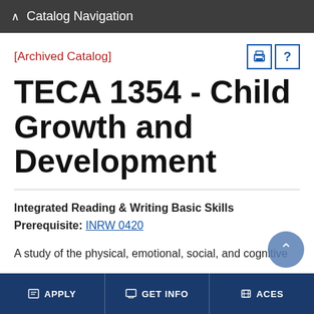^ Catalog Navigation
[Archived Catalog]
TECA 1354 - Child Growth and Development
Integrated Reading & Writing Basic Skills
Prerequisite: INRW 0420
A study of the physical, emotional, social, and cognitive
APPLY   GET INFO   ACES